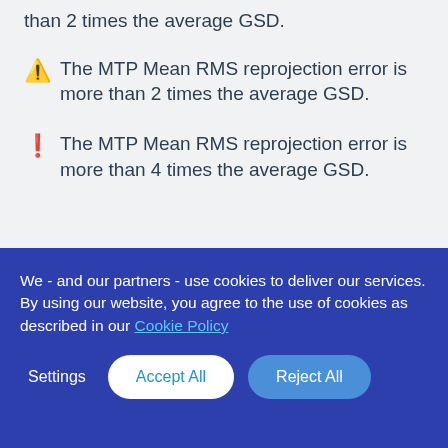than 2 times the average GSD.
⚠ The MTP Mean RMS reprojection error is more than 2 times the average GSD.
🔴 The MTP Mean RMS reprojection error is more than 4 times the average GSD.
We - and our partners - use cookies to deliver our services. By using our website, you agree to the use of cookies as described in our Cookie Policy
Settings
Accept All
Reject All